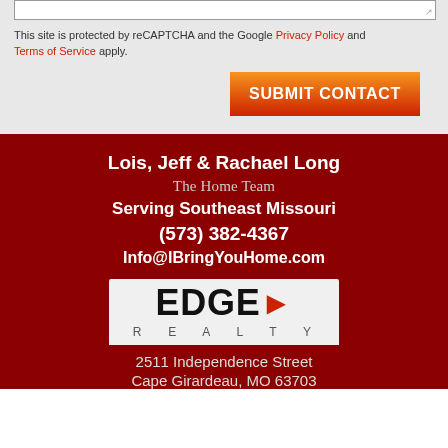This site is protected by reCAPTCHA and the Google Privacy Policy and Terms of Service apply.
[Figure (other): Orange-to-red gradient Submit Contact button]
Lois, Jeff & Rachael Long
The Home Team
Serving Southeast Missouri
(573) 382-4367
Info@IBringYouHome.com
[Figure (logo): EDGE Realty logo with arrow and REALTY text beneath]
2511 Independence Street
Cape Girardeau, MO 63703